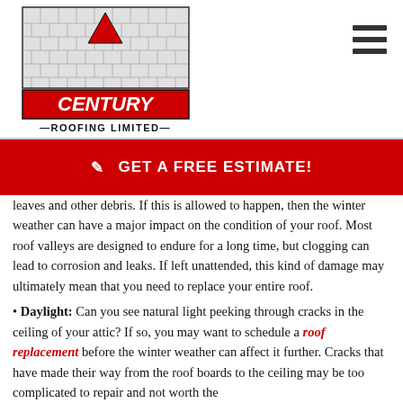[Figure (logo): Century Roofing Limited logo with roof illustration and red rectangular banner]
✎  GET A FREE ESTIMATE!
leaves and other debris. If this is allowed to happen, then the winter weather can have a major impact on the condition of your roof. Most roof valleys are designed to endure for a long time, but clogging can lead to corrosion and leaks. If left unattended, this kind of damage may ultimately mean that you need to replace your entire roof.
• Daylight: Can you see natural light peeking through cracks in the ceiling of your attic? If so, you may want to schedule a roof replacement before the winter weather can affect it further. Cracks that have made their way from the roof boards to the ceiling may be too complicated to repair and not worth the